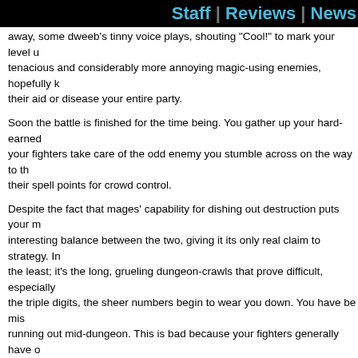Staff | Reviews | News
away, some dweeb's tinny voice plays, shouting “Cool!” to mark your level up. tenacious and considerably more annoying magic-using enemies, hopefully k their aid or disease your entire party.
Soon the battle is finished for the time being. You gather up your hard-earned your fighters take care of the odd enemy you stumble across on the way to th their spell points for crowd control.
Despite the fact that mages’ capability for dishing out destruction puts your m interesting balance between the two, giving it its only real claim to strategy. In the least; it’s the long, grueling dungeon-crawls that prove difficult, especially the triple digits, the sheer numbers begin to wear you down. You have be mis running out mid-dungeon. This is bad because your fighters generally have o of magical support, either in the stat-altering department or with sheer dama somewhere to restore your SP, you can be certain that the monsters will hav and be waiting for you, piled sometimes three or four (or more!) deep outside
Venture further in and you’ll often come across “specials,” white dots on the f are many diverse specials scattered throughout Exile, in towns and on the w whether to rush an Empire outpost or trick your way past it, or even somethin There are also invisible specials that don’t offer choices, usually room descri they’re a really fantastic addition to the game, vividly written or simple and co demands. They breathe life into the land of Exile, piggybacking on your imag
That said, though, the game doesn’t much look like it’s as old as it is, which i chipsets were redrawn a couple years after its release. Everything is silky sm cave could be, even cheerful, from the neon aquamarine of the cave floor to Granted, it’s far from perfect: there aren’t that many chips so they tend to